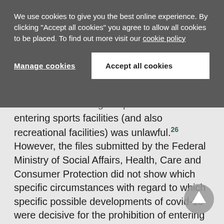We use cookies to give you the best online experience. By clicking "Accept all cookies" you agree to allow all cookies to be placed. To find out more visit our cookie policy
Manage cookies
Accept all cookies
covid-19 concerning the prohibition of entering sports facilities (and also recreational facilities) was unlawful.26 However, the files submitted by the Federal Ministry of Social Affairs, Health, Care and Consumer Protection did not show which specific circumstances with regard to which specific possible developments of covid-19 were decisive for the prohibition of entering sports and recreational facilities. However, such documentation would be a prerequisite for